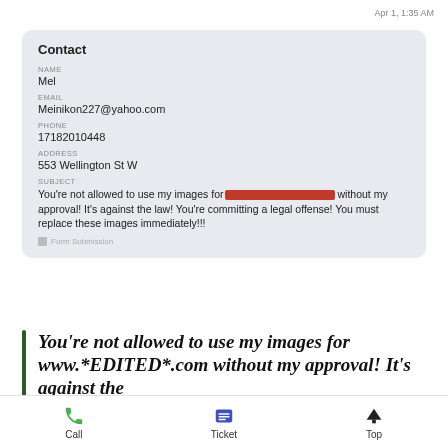Apr 1, 1:35 AM
| Field | Value |
| --- | --- |
| Name | Mel |
| Email | Meinikon227@yahoo.com |
| Phone | 17182010448 |
| Address | 553 Wellington St W |
| Subject | You're not allowed to use my images for [REDACTED] without my approval! It's against the law! You're committing a legal offense! You must replace these images immediately!!! |
You're not allowed to use my images for www.*EDITED*.com without my approval! It's against the
Call   Ticket   Top